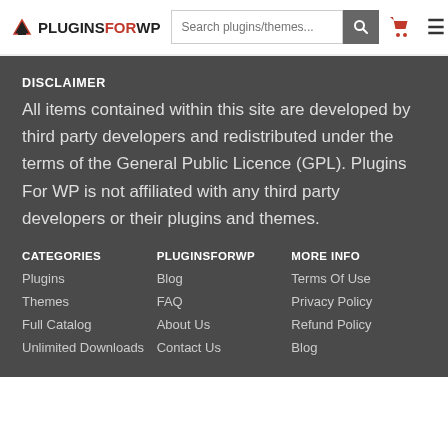PLUGINS FOR WP — Search plugins/themes...
DISCLAIMER
All items contained within this site are developed by third party developers and redistributed under the terms of the General Public Licence (GPL). Plugins For WP is not affiliated with any third party developers or their plugins and themes.
CATEGORIES
Plugins
Themes
Full Catalog
PLUGINSFORWP
Blog
FAQ
About Us
MORE INFO
Terms Of Use
Privacy Policy
Refund Policy